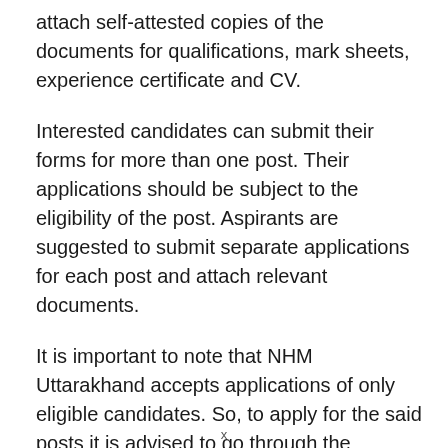attach self-attested copies of the documents for qualifications, mark sheets, experience certificate and CV.
Interested candidates can submit their forms for more than one post. Their applications should be subject to the eligibility of the post. Aspirants are suggested to submit separate applications for each post and attach relevant documents.
It is important to note that NHM Uttarakhand accepts applications of only eligible candidates. So, to apply for the said posts it is advised to go through the eligibility criteria once and fulfil the same. Candidates intending
x